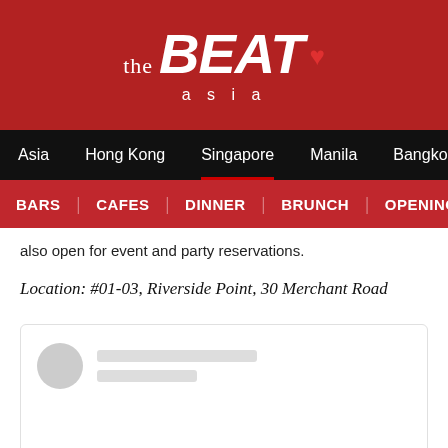the BEAT asia
Asia | Hong Kong | Singapore | Manila | Bangkok
BARS | CAFES | DINNER | BRUNCH | OPENING
also open for event and party reservations.
Location: #01-03, Riverside Point, 30 Merchant Road
[Figure (screenshot): Social media embed placeholder with avatar circle and two grey loading bars]